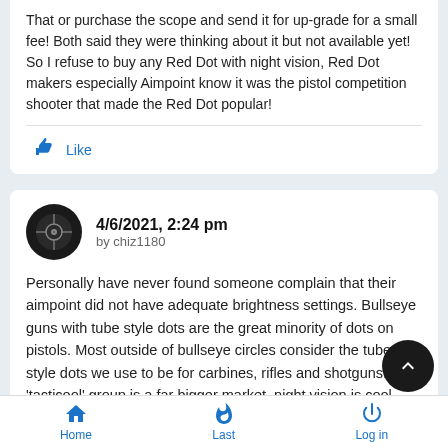That or purchase the scope and send it for up-grade for a small fee! Both said they were thinking about it but not available yet! So I refuse to buy any Red Dot with night vision, Red Dot makers especially Aimpoint know it was the pistol competition shooter that made the Red Dot popular!
Like
4/6/2021, 2:24 pm
by chiz1180
Personally have never found someone complain that their aimpoint did not have adequate brightness settings. Bullseye guns with tube style dots are the great minority of dots on pistols. Most outside of bullseye circles consider the tube style dots we use to be for carbines, rifles and shotguns. The 'tacticool' group is a far bigger market, night vision is cool, therefore manufactures put it in their product. Changing
Home   Last   Log in